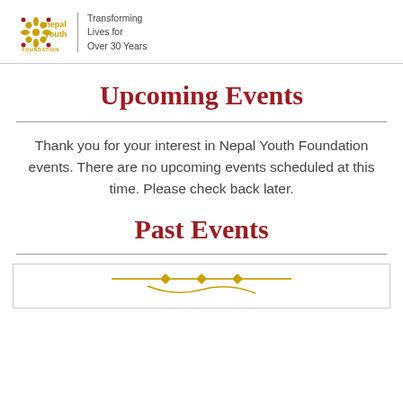nepal youth FOUNDATION — Transforming Lives for Over 30 Years
Upcoming Events
Thank you for your interest in Nepal Youth Foundation events. There are no upcoming events scheduled at this time. Please check back later.
Past Events
[Figure (illustration): Decorative golden ornamental border design at the bottom of the page]